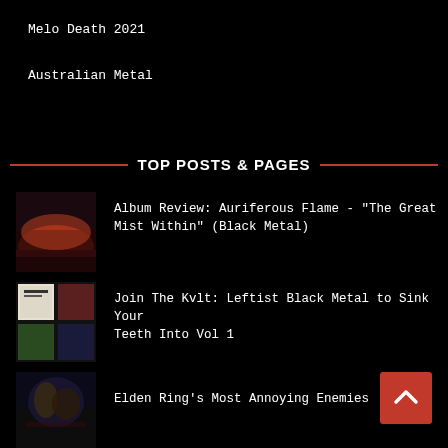Melo Death 2021
Australian Metal
TOP POSTS & PAGES
Album Review: Auriferous Flame - "The Great Mist Within" (Black Metal)
Join The Kvlt: Leftist Black Metal to Sink Your Teeth Into Vol 1
Elden Ring's Most Annoying Enemies
Kep's Mid-year Top 10 Albums, 2022
Album Review: Molder - "Engrossed in Decay"